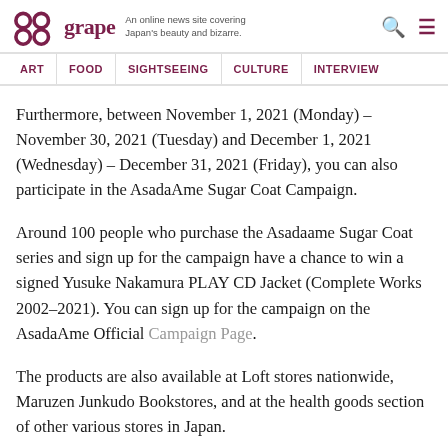grape — An online news site covering Japan's beauty and bizarre.
ART | FOOD | SIGHTSEEING | CULTURE | INTERVIEW
Furthermore, between November 1, 2021 (Monday) – November 30, 2021 (Tuesday) and December 1, 2021 (Wednesday) – December 31, 2021 (Friday), you can also participate in the AsadaAme Sugar Coat Campaign.
Around 100 people who purchase the Asadaame Sugar Coat series and sign up for the campaign have a chance to win a signed Yusuke Nakamura PLAY CD Jacket (Complete Works 2002–2021). You can sign up for the campaign on the AsadaAme Official Campaign Page.
The products are also available at Loft stores nationwide, Maruzen Junkudo Bookstores, and at the health goods section of other various stores in Japan.